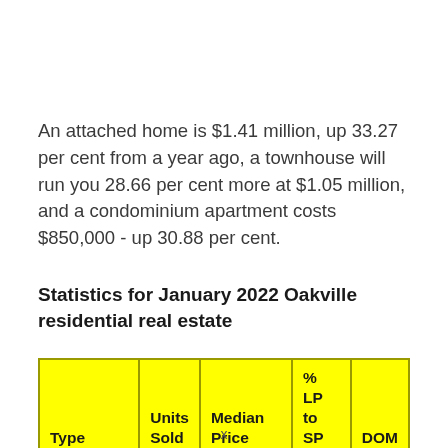An attached home is $1.41 million, up 33.27 per cent from a year ago, a townhouse will run you 28.66 per cent more at $1.05 million, and a condominium apartment costs $850,000 - up 30.88 per cent.
Statistics for January 2022 Oakville residential real estate
| Type | Units Sold | Median Price | % LP to SP | DOM |
| --- | --- | --- | --- | --- |